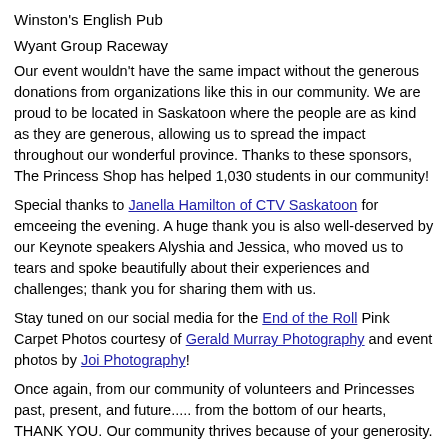Winston's English Pub
Wyant Group Raceway
Our event wouldn't have the same impact without the generous donations from organizations like this in our community. We are proud to be located in Saskatoon where the people are as kind as they are generous, allowing us to spread the impact throughout our wonderful province. Thanks to these sponsors, The Princess Shop has helped 1,030 students in our community!
Special thanks to Janella Hamilton of CTV Saskatoon for emceeing the evening. A huge thank you is also well-deserved by our Keynote speakers Alyshia and Jessica, who moved us to tears and spoke beautifully about their experiences and challenges; thank you for sharing them with us.
Stay tuned on our social media for the End of the Roll Pink Carpet Photos courtesy of Gerald Murray Photography and event photos by Joi Photography!
Once again, from our community of volunteers and Princesses past, present, and future..... from the bottom of our hearts, THANK YOU. Our community thrives because of your generosity.